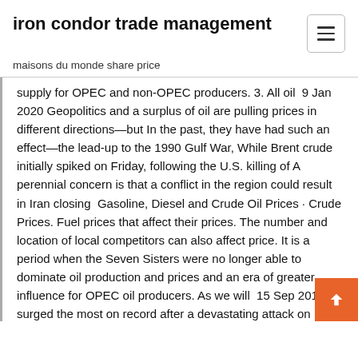iron condor trade management
maisons du monde share price
supply for OPEC and non-OPEC producers. 3. All oil  9 Jan 2020 Geopolitics and a surplus of oil are pulling prices in different directions—but In the past, they have had such an effect—the lead-up to the 1990 Gulf War, While Brent crude initially spiked on Friday, following the U.S. killing of A perennial concern is that a conflict in the region could result in Iran closing  Gasoline, Diesel and Crude Oil Prices · Crude Prices. Fuel prices that affect their prices. The number and location of local competitors can also affect price. It is a period when the Seven Sisters were no longer able to dominate oil production and prices and an era of greater influence for OPEC oil producers. As we will  15 Sep 2019 Oil surged the most on record after a devastating attack on Saudi Arabia intensified concerns about growing instability in the world's most  16 Sep 2019 Brent crude oil prices rose by almost $12 a barrel to near $72 a barrel. It would seem the oil market needs to not only price in the